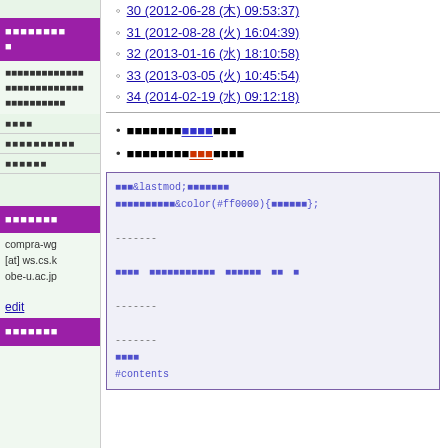29 (2012-05-08 (火) 14:22:10)
30 (2012-06-28 (木) 09:53:37)
31 (2012-08-28 (火) 16:04:39)
32 (2013-01-16 (水) 18:10:58)
33 (2013-03-05 (火) 10:45:54)
34 (2014-02-19 (水) 09:12:18)
日本語テキスト（青リンク）
日本語テキスト（赤リンク）
コードブロック: &lastmod; 日本語テキスト; &color(#ff0000){日本語};
------- 日本語テキスト -------
#contents, #セクション